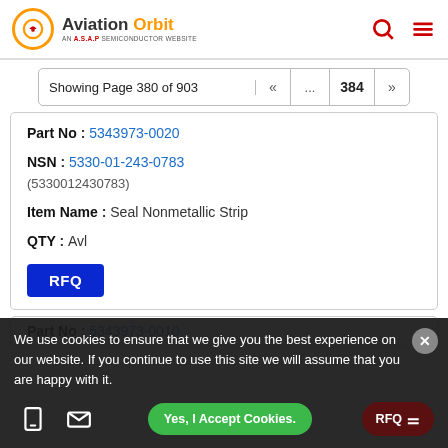Aviation Orbit — AN A.S.A.P SEMICONDUCTOR WEBSITE
Showing Page 380 of 903 « ... 384 »
Part No: 5343973-0020
NSN: 5330-01-243-0783 (5330012430783)
Item Name: Seal Nonmetallic Strip
QTY: Avl
RFQ
Part No: 5343973-0010
We use cookies to ensure that we give you the best experience on our website. If you continue to use this site we will assume that you are happy with it.
Yes, I Accept Cookies.
RFQ